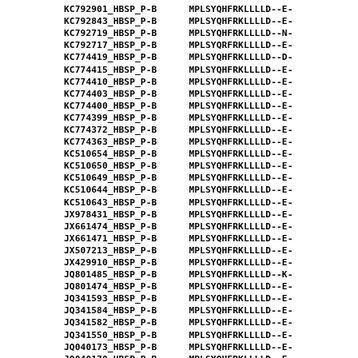| Sequence ID | Sequence |
| --- | --- |
| KC792901_HBSP_P-B | MPLSYQHFRKLLLLD--E- |
| KC792843_HBSP_P-B | MPLSYQHFRKLLLLD--E- |
| KC792719_HBSP_P-B | MPLSYQHFRKLLLLD--N- |
| KC792717_HBSP_P-B | MPLSYQRFRKLLLLD--E- |
| KC774419_HBSP_P-B | MPLSYQHFRKLLLLD--D- |
| KC774415_HBSP_P-B | MPLSYQHFRKLLLLD--E- |
| KC774410_HBSP_P-B | MPLSYQHFRKLLLLD--E- |
| KC774403_HBSP_P-B | MPLSYQHFRKLLLLD--E- |
| KC774400_HBSP_P-B | MPLSYQHFRKLLLLD--E- |
| KC774399_HBSP_P-B | MPLSYQHFRKLLLLD--E- |
| KC774372_HBSP_P-B | MPLSYQHFRKLLLLD--E- |
| KC774363_HBSP_P-B | MPLSYQHFRKLLLLD--E- |
| KC510654_HBSP_P-B | MPLSYQHFRKLLLLD--E- |
| KC510650_HBSP_P-B | MPLSYQHFRKLLLLD--E- |
| KC510649_HBSP_P-B | MPLSYQHFRKLLLLD--E- |
| KC510644_HBSP_P-B | MPLSYQHFRKLLLLD--E- |
| KC510643_HBSP_P-B | MPLSYQHFRKLLLLD--E- |
| JX978431_HBSP_P-B | MPLSYQHFRKLLLLD--E- |
| JX661474_HBSP_P-B | MPLSYQHFRKLLLLD--E- |
| JX661471_HBSP_P-B | MPLSYQHFRKLLLLD--E- |
| JX507213_HBSP_P-B | MPLSYQHFRKLLLLD--E- |
| JX429910_HBSP_P-B | MPLSYQHFRKLLLLD--E- |
| JQ801485_HBSP_P-B | MPLSYQHFRKLLLLD--K- |
| JQ801474_HBSP_P-B | MPLSYQHFRKLLLLD--E- |
| JQ341593_HBSP_P-B | MPLSYQHFRKLLLLD--E- |
| JQ341584_HBSP_P-B | MPLSYQHFRKLLLLD--E- |
| JQ341582_HBSP_P-B | MPLSYQHFRKLLLLD--E- |
| JQ341550_HBSP_P-B | MPLSYQHFRKLLLLD--E- |
| JQ040173_HBSP_P-B | MPLSYQHFRKLLLLD--E- |
| JQ040170_HBSP_P-B | MPLSYQHFRKLLLLD--E |